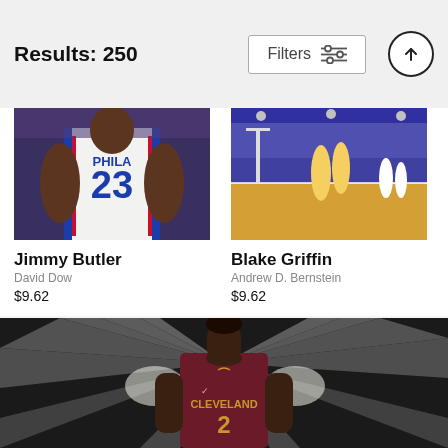Results: 250
[Figure (screenshot): Filters button with sliders icon and up-arrow circle button]
[Figure (photo): Jimmy Butler Philadelphia 76ers #23 basketball player photo]
Jimmy Butler
David Dow
$9.62
[Figure (photo): Blake Griffin Lakers arena basketball game action photo]
Blake Griffin
Andrew D. Bernstein
$9.62
[Figure (photo): Cleveland Cavaliers player #2 in dark studio setting with dramatic light rays, wearing maroon Cleveland jersey]